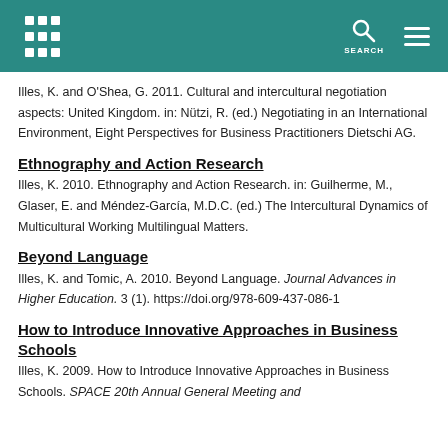SEARCH
Illes, K. and O'Shea, G. 2011. Cultural and intercultural negotiation aspects: United Kingdom. in: Nützi, R. (ed.) Negotiating in an International Environment, Eight Perspectives for Business Practitioners Dietschi AG.
Ethnography and Action Research
Illes, K. 2010. Ethnography and Action Research. in: Guilherme, M., Glaser, E. and Méndez-García, M.D.C. (ed.) The Intercultural Dynamics of Multicultural Working Multilingual Matters.
Beyond Language
Illes, K. and Tomic, A. 2010. Beyond Language. Journal Advances in Higher Education. 3 (1). https://doi.org/978-609-437-086-1
How to Introduce Innovative Approaches in Business Schools
Illes, K. 2009. How to Introduce Innovative Approaches in Business Schools. SPACE 20th Annual General Meeting and